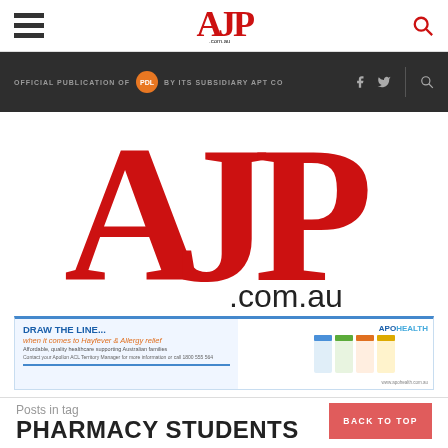AJP.com.au navigation header
OFFICIAL PUBLICATION OF PDL BY ITS SUBSIDIARY APT CO
[Figure (logo): AJP.com.au large red logo]
[Figure (infographic): APOHEALTH advertisement banner - DRAW THE LINE... when it comes to Hayfever & Allergy relief. Affordable, quality healthcare supporting Australian families.]
Posts in tag
PHARMACY STUDENTS
BACK TO TOP